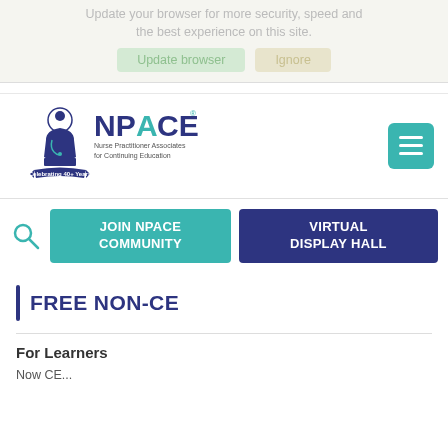Update your browser for more security, speed and the best experience on this site.
[Figure (logo): NPACE logo — Nurse Practitioner Associates for Continuing Education — Celebrating 40+ Years]
[Figure (other): Hamburger menu button (teal/turquoise)]
[Figure (other): Search icon (teal magnifying glass)]
[Figure (other): JOIN NPACE COMMUNITY button (teal)]
[Figure (other): VIRTUAL DISPLAY HALL button (dark navy)]
FREE NON-CE
For Learners
Now CE...